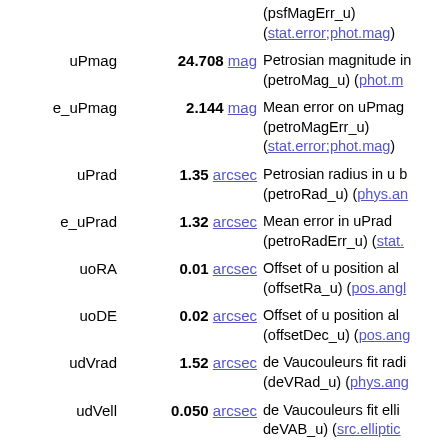| Name | Value | Description |
| --- | --- | --- |
|  |  | (psfMagErr_u) (stat.error;phot.mag) |
| uPmag | 24.708 mag | Petrosian magnitude in u (petroMag_u) (phot.m… |
| e_uPmag | 2.144 mag | Mean error on uPmag (petroMagErr_u) (stat.error;phot.mag) |
| uPrad | 1.35 arcsec | Petrosian radius in u b (petroRad_u) (phys.an… |
| e_uPrad | 1.32 arcsec | Mean error in uPrad (petroRadErr_u) (stat.… |
| uoRA | 0.01 arcsec | Offset of u position alo (offsetRa_u) (pos.angl… |
| uoDE | 0.02 arcsec | Offset of u position alo (offsetDec_u) (pos.ang… |
| udVrad | 1.52 arcsec | de Vaucouleurs fit radi (deVRad_u) (phys.ang… |
| udVell | 0.050 arcsec | de Vaucouleurs fit elli deVAB_u) (src.elliptic… |
| uPA | 172.8 deg | Position angle of dVra (deVPhi_u) (pos.posA… |
| gFlags | 00000A0000008000001 | Detection flags, g band (Note 2) (meta.code… |